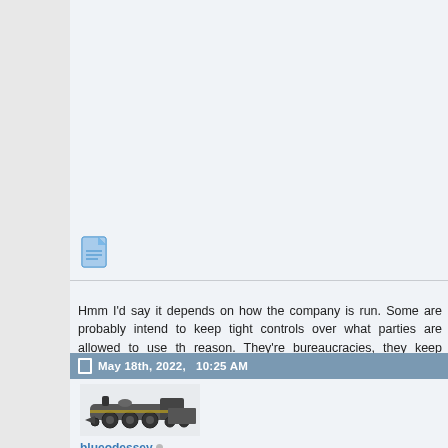[Figure (screenshot): Top portion of forum post, mostly blank/cropped content area with light blue-gray background]
[Figure (illustration): Small blue document/notepad icon]
Hmm I'd say it depends on how the company is run. Some are probably intend to keep tight controls over what parties are allowed to use the reason. They're bureaucracies, they keep records and use a lot of strictly adhere to formal procedure and documentation for issues s
May 18th, 2022,   10:25 AM
[Figure (illustration): Avatar image of a dark Union Pacific steam locomotive facing right, large detailed illustration]
blueodessey
Trainz Veteran
[Figure (infographic): Version badges: TS12, T:ANE-Std, TD2016 on first row, TRS19-PLATINUM on second row, iPad on third row (partially visible)]